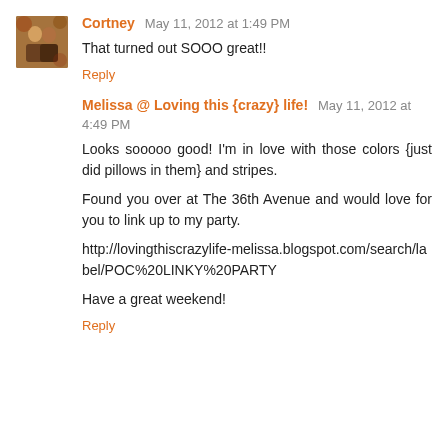[Figure (photo): Small avatar photo of a couple (man and woman) used as commenter profile picture]
Cortney  May 11, 2012 at 1:49 PM
That turned out SOOO great!!
Reply
Melissa @ Loving this {crazy} life!  May 11, 2012 at 4:49 PM
Looks sooooo good! I'm in love with those colors {just did pillows in them} and stripes.

Found you over at The 36th Avenue and would love for you to link up to my party.

http://lovingthiscrazylife-melissa.blogspot.com/search/label/POC%20LINKY%20PARTY

Have a great weekend!
Reply